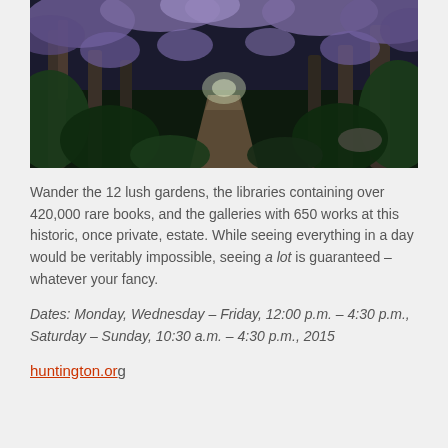[Figure (photo): Garden path beneath overhanging wisteria trees with purple blooms, lush green vegetation on both sides, dappled sunlight filtering through the canopy.]
Wander the 12 lush gardens, the libraries containing over 420,000 rare books, and the galleries with 650 works at this historic, once private, estate. While seeing everything in a day would be veritably impossible, seeing a lot is guaranteed – whatever your fancy.
Dates: Monday, Wednesday – Friday, 12:00 p.m. – 4:30 p.m., Saturday – Sunday, 10:30 a.m. – 4:30 p.m., 2015
huntington.org